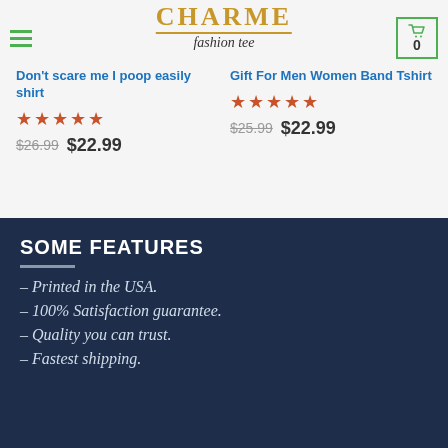CHARME fashion tee
Don't scare me I poop easily shirt
Rated 5 stars | $26.99  $22.99
Gift For Men Women Band Tshirt
Rated 5 stars | $25.99  $22.99
SOME FEATURES
– Printed in the USA.
– 100% Satisfaction guarantee.
– Quality you can trust.
– Fastest shipping.